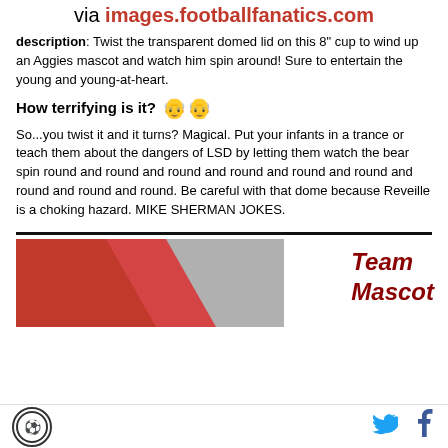via images.footballfanatics.com
description: Twist the transparent domed lid on this 8" cup to wind up an Aggies mascot and watch him spin around! Sure to entertain the young and young-at-heart.
How terrifying is it?
So...you twist it and it turns? Magical. Put your infants in a trance or teach them about the dangers of LSD by letting them watch the bear spin round and round and round and round and round and round and round and round and round. Be careful with that dome because Reveille is a choking hazard. MIKE SHERMAN JOKES.
[Figure (photo): Partial image of a red and grey object, likely a car or vehicle detail]
Team Mascot
Logo icon, Twitter icon, Facebook icon